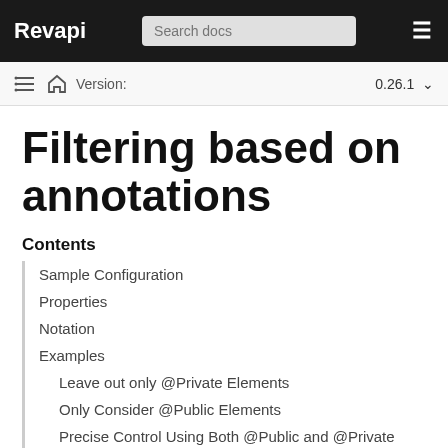Revapi  Search docs
Version: 0.26.1
Filtering based on annotations
Contents
Sample Configuration
Properties
Notation
Examples
Leave out only @Private Elements
Only Consider @Public Elements
Precise Control Using Both @Public and @Private